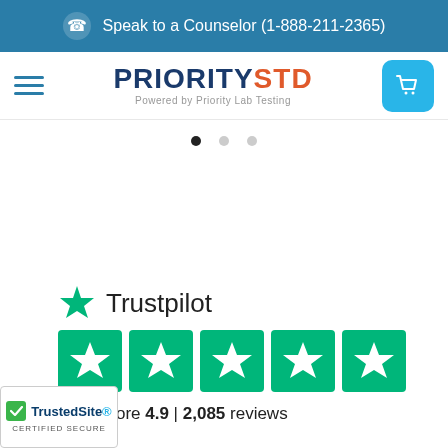Speak to a Counselor (1-888-211-2365)
[Figure (logo): PrioritySTD logo with hamburger menu and cart button navigation bar]
[Figure (infographic): Slider pagination dots - three dots with first one active]
[Figure (infographic): Trustpilot logo with 5 green star rating boxes and TrustScore 4.9 | 2,085 reviews]
[Figure (logo): TrustedSite Certified Secure badge in bottom left corner]